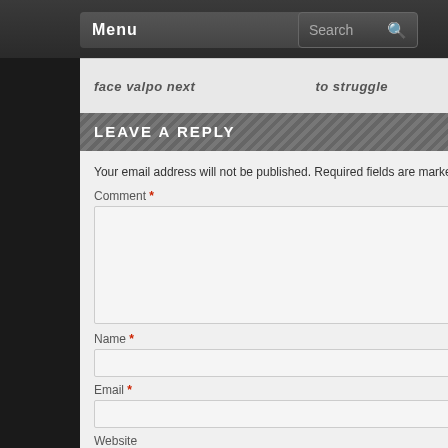Menu | Search
face Valpo next … to struggle
LEAVE A REPLY
Your email address will not be published. Required fields are marked *
Comment *
Name *
Email *
Website